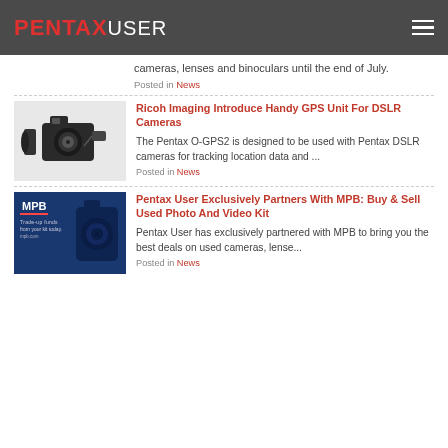PENTAXUSER
cameras, lenses and binoculars until the end of July.
Posted in News
Ricoh Imaging Introduce Handy GPS Unit For DSLR Cameras
[Figure (photo): Camera with lens and GPS unit attached]
The Pentax O-GPS2 is designed to be used with Pentax DSLR cameras for tracking location data and ...
Posted in News
Pentax User Exclusively Partners With MPB: Buy & Sell Used Photo And Video Kit
[Figure (photo): MPB advertisement banner with camera]
Pentax User has exclusively partnered with MPB to bring you the best deals on used cameras, lense...
Posted in News